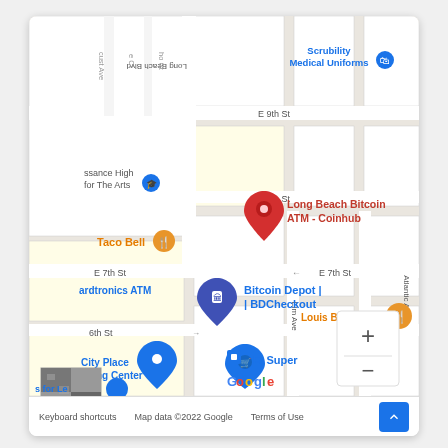[Figure (map): Google Maps screenshot showing Long Beach area with streets E 9th St, E 8th St, E 7th St, E 6th St, Long Beach Blvd, Elm Ave, Atlantic Ave. Location markers visible: Long Beach Bitcoin ATM - Coinhub (red pin), Bitcoin Depot BDCheckout (blue pin), Taco Bell (orange pin), Louis Burger III (orange pin), City Place Shopping Center (blue pin), El Super (blue pin), Scrubility Medical Uniforms (blue pin), ardtronics ATM (text label). Zoom controls (+/-) in bottom right. Google logo. Map data 2022 Google.]
Keyboard shortcuts   Map data ©2022 Google   Terms of Use